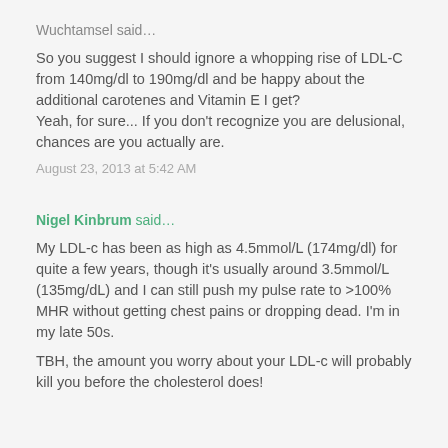Wuchtamsel said…
So you suggest I should ignore a whopping rise of LDL-C from 140mg/dl to 190mg/dl and be happy about the additional carotenes and Vitamin E I get?
Yeah, for sure... If you don't recognize you are delusional, chances are you actually are.
August 23, 2013 at 5:42 AM
Nigel Kinbrum said…
My LDL-c has been as high as 4.5mmol/L (174mg/dl) for quite a few years, though it's usually around 3.5mmol/L (135mg/dL) and I can still push my pulse rate to >100% MHR without getting chest pains or dropping dead. I'm in my late 50s.
TBH, the amount you worry about your LDL-c will probably kill you before the cholesterol does!